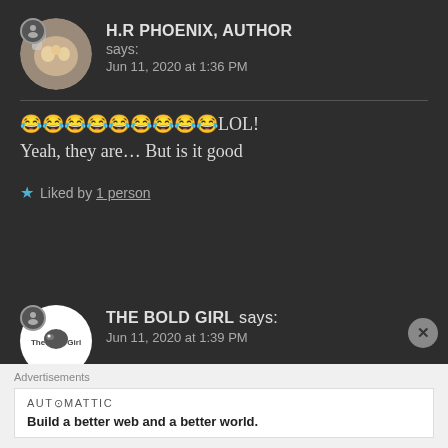H.R PHOENIX, AUTHOR says: Jun 11, 2020 at 1:36 PM
😂😂😂😂😂😂😂😂😂LOL! Yeah, they are… But is it good
★ Liked by 1 person
THE BOLD GIRL says: Jun 11, 2020 at 1:39 PM
Yeahh!!!
Advertisements
AUT⊙MATTIC
Build a better web and a better world.